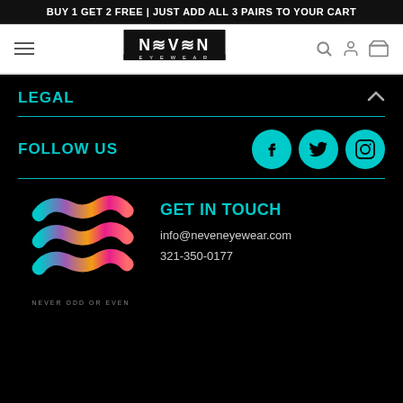BUY 1 GET 2 FREE | JUST ADD ALL 3 PAIRS TO YOUR CART
[Figure (logo): Neven Eyewear logo with wavy N letters and EYEWEAR text below, navigation bar with hamburger menu, search, account, and cart icons]
LEGAL
FOLLOW US
[Figure (logo): Neven Eyewear colorful wavy logo mark with NEVER ODD OR EVEN tagline below]
GET IN TOUCH
info@neveneyewear.com
321-350-0177